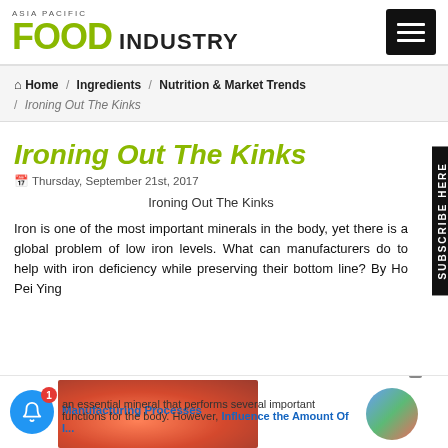ASIA PACIFIC FOOD INDUSTRY
Home / Ingredients / Nutrition & Market Trends / Ironing Out The Kinks
Ironing Out The Kinks
Thursday, September 21st, 2017
Ironing Out The Kinks
Iron is one of the most important minerals in the body, yet there is a global problem of low iron levels. What can manufacturers do to help with iron deficiency while preserving their bottom line? By Ho Pei Ying
an essential mineral that performs several important functions for the body. However, there is a global iron deficiency problem and...